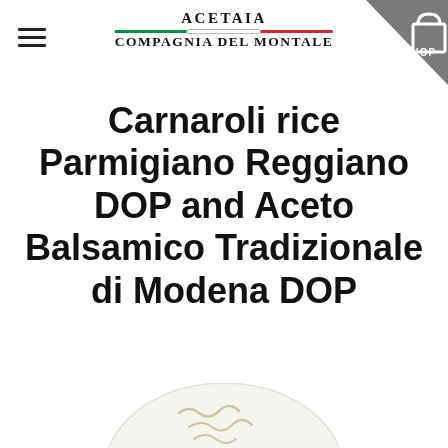Acetaia Compagnia Del Montale
Carnaroli rice Parmigiano Reggiano DOP and Aceto Balsamico Tradizionale di Modena DOP
[Figure (illustration): Partial view of a white plate with food at the bottom of the page]